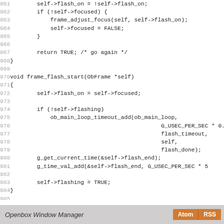Code listing lines 961-989: C source code for frame flash functions in Openbox Window Manager
Openbox Window Manager   Atom  RSS